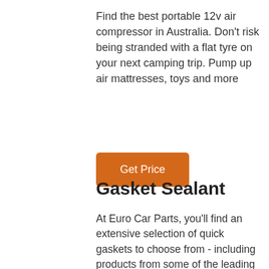Find the best portable 12v air compressor in Australia. Don't risk being stranded with a flat tyre on your next camping trip. Pump up air mattresses, toys and more
Get Price
Gasket Sealant
At Euro Car Parts, you'll find an extensive selection of quick gaskets to choose from - including products from some of the leading brands in motoring, including Carplan, Triple QX and Loctite. We pride ourselves on offering unbeatable choice, quality and value for money in all our products, and this extends to our quick gasket sealants.